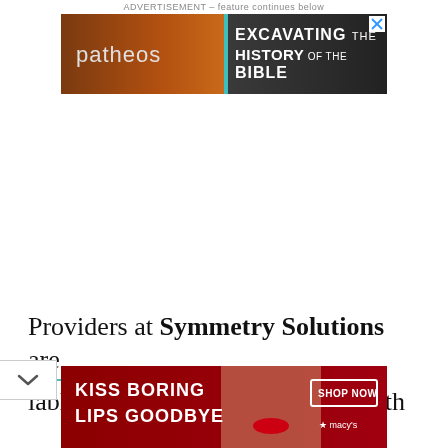ADVERTISEMENT – feature continues below
[Figure (illustration): Patheos advertisement banner for 'Excavating the History of the Bible' featuring brown/orange textured background with patheos logo and text]
Providers at Symmetry Solutions are lable to help you navigate your faith
[Figure (illustration): Macy's advertisement banner reading 'KISS BORING LIPS GOODBYE' with SHOP NOW button and woman's face with red lips]